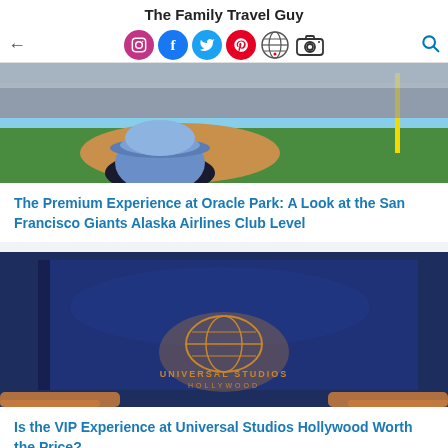The Family Travel Guy
[Figure (screenshot): Navigation bar with back arrow, social media icons (Instagram, Facebook, Twitter, Pinterest, globe/network, camera), and search icon]
[Figure (photo): Baseball stadium photo showing Oracle Park from behind a person wearing a blue cap, with crowd and green field visible]
The Premium Experience at Oracle Park: A Look at the San Francisco Giants Alaska Airlines Club Level
[Figure (photo): Person holding a dark navy blue hardcover book/brochure with Universal Studios Hollywood logo on the cover]
Is the VIP Experience at Universal Studios Hollywood Worth the Price?